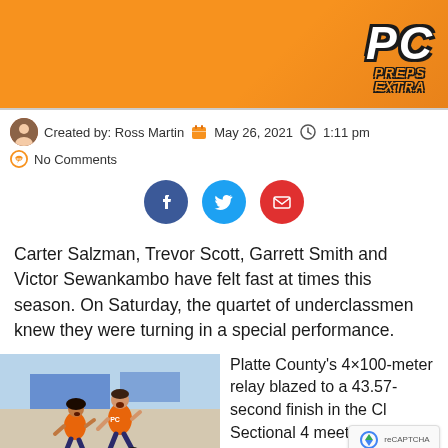[Figure (logo): Preps Extra logo with PC letters on orange banner background]
Created by: Ross Martin  May 26, 2021  1:11 pm  No Comments
[Figure (infographic): Social share buttons: Facebook, Twitter, Email]
Carter Salzman, Trevor Scott, Garrett Smith and Victor Sewankambo have felt fast at times this season. On Saturday, the quartet of underclassmen knew they were turning in a special performance.
[Figure (photo): Runner in orange jersey racing at a track meet]
Platte County's 4×100-meter relay blazed to a 43.57-second finish in the Class Sectional 4 meet, finally taking down an elusive